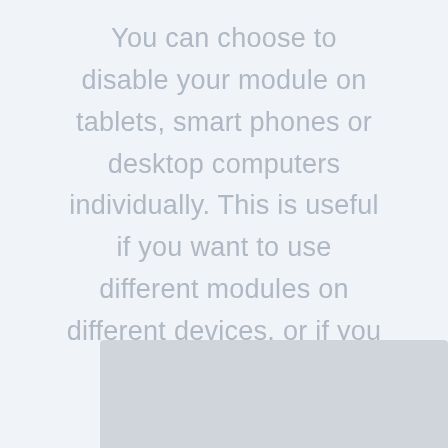You can choose to disable your module on tablets, smart phones or desktop computers individually. This is useful if you want to use different modules on different devices, or if you want to simplify the mobile design by eliminating certain elements from the page.
[Figure (other): Gray rectangular panel at the bottom of the page, partially visible, suggesting a UI element or screenshot]